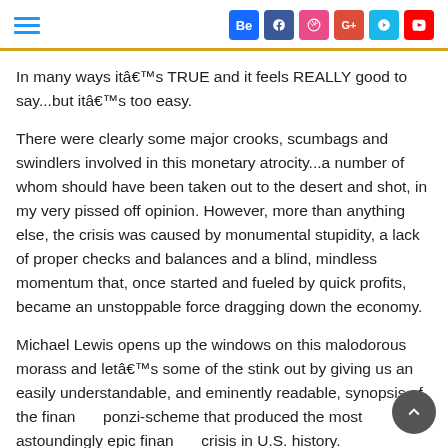Social navigation header with hamburger menu and social media icons (Behance, Facebook, Dribbble, Google+, Vine, YouTube)
In many ways itâ€™s TRUE and it feels REALLY good to say...but itâ€™s too easy.
There were clearly some major crooks, scumbags and swindlers involved in this monetary atrocity...a number of whom should have been taken out to the desert and shot, in my very pissed off opinion. However, more than anything else, the crisis was caused by monumental stupidity, a lack of proper checks and balances and a blind, mindless momentum that, once started and fueled by quick profits, became an unstoppable force dragging down the economy.
Michael Lewis opens up the windows on this malodorous morass and letâ€™s some of the stink out by giving us an easily understandable, and eminently readable, synopsis of the financial ponzi-scheme that produced the most astoundingly epic financial crisis in U.S. history.